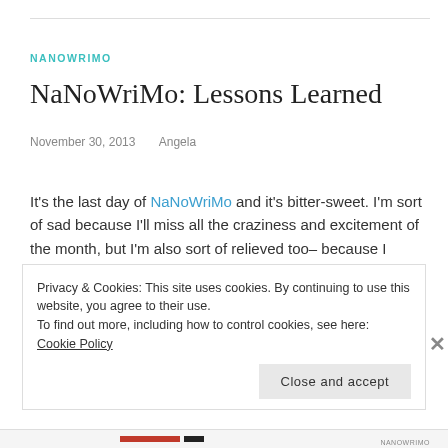NANOWRIMO
NaNoWriMo: Lessons Learned
November 30, 2013   Angela
It's the last day of NaNoWriMo and it's bitter-sweet. I'm sort of sad because I'll miss all the craziness and excitement of the month, but I'm also sort of relieved too– because I discovered I'm not the best at getting down 1, 000 + words a day. That is quite a lot of pressure! Instead of focusing solely
Privacy & Cookies: This site uses cookies. By continuing to use this website, you agree to their use.
To find out more, including how to control cookies, see here: Cookie Policy
Close and accept